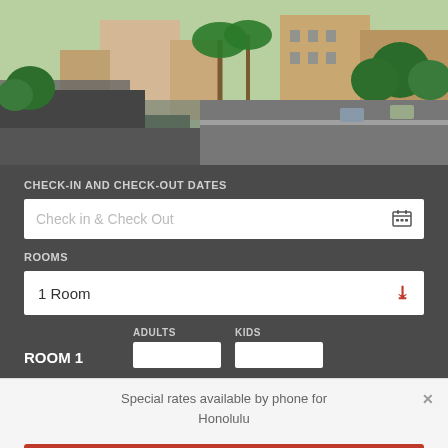[Figure (photo): Aerial view of a hotel building with palm trees, roads, and lush greenery in what appears to be Honolulu, Hawaii]
CHECK-IN AND CHECK-OUT DATES
Check in & Check Out
ROOMS
1 Room
ROOM 1
ADULTS
KIDS
Special rates available by phone for Honolulu
Call Now: (844) 656-1783